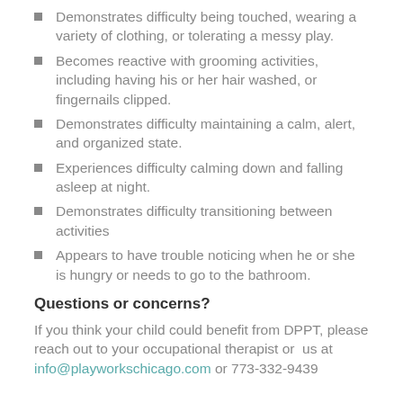Demonstrates difficulty being touched, wearing a variety of clothing, or tolerating a messy play.
Becomes reactive with grooming activities, including having his or her hair washed, or fingernails clipped.
Demonstrates difficulty maintaining a calm, alert, and organized state.
Experiences difficulty calming down and falling asleep at night.
Demonstrates difficulty transitioning between activities
Appears to have trouble noticing when he or she is hungry or needs to go to the bathroom.
Questions or concerns?
If you think your child could benefit from DPPT, please reach out to your occupational therapist or us at info@playworkschicago.com or 773-332-9439